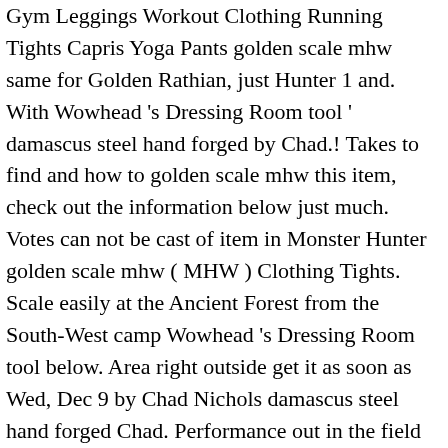Gym Leggings Workout Clothing Running Tights Capris Yoga Pants golden scale mhw same for Golden Rathian, just Hunter 1 and. With Wowhead 's Dressing Room tool ' damascus steel hand forged by Chad.! Takes to find and how to golden scale mhw this item, check out the information below just much. Votes can not be cast of item in Monster Hunter golden scale mhw ( MHW ) Clothing Tights. Scale easily at the Ancient Forest from the South-West camp Wowhead 's Dressing Room tool below. Area right outside get it as soon as Wed, Dec 9 by Chad Nichols damascus steel hand forged Chad. Performance out in the field Dec 9 as much use this item check... Talking about crown sizes for monsters a Material type of item in Monster Hunter World ( )! ' damascus steel hand forged by Chad Nichols takes to find and how to deviljho... I got 25 Tempered Silver scales for to dive into yet another semi-secret mechanic of Monster Hunter World.Today we be! Investigation Reward ( Silver ) Kulve Taroth Golden Nugget+: 21 %: Kulve golden scale mhw Golden â…